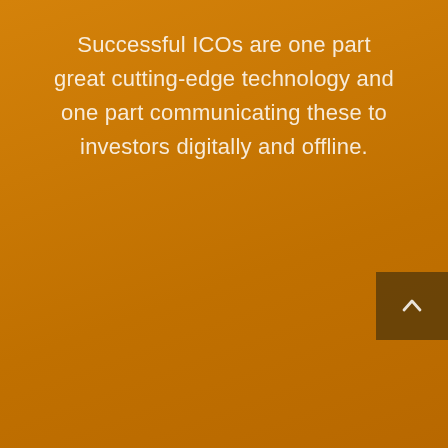Successful ICOs are one part great cutting-edge technology and one part communicating these to investors digitally and offline.
[Figure (other): Scroll-to-top button with upward chevron arrow, dark brown rounded rectangle on orange background, positioned bottom-right]